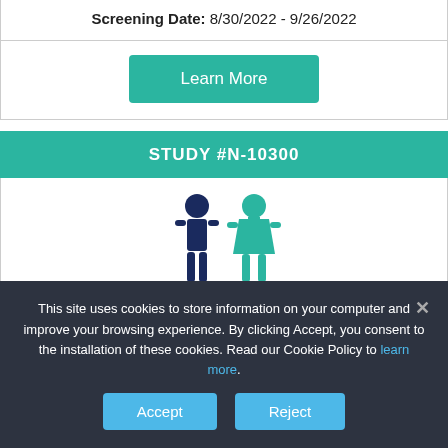Screening Date: 8/30/2022 - 9/26/2022
[Figure (illustration): Learn More button (teal/green rounded rectangle)]
STUDY #N-10300
[Figure (illustration): Male and female gender icons: dark navy male figure and teal female figure]
Healthy males and females of non-childbearing potential*
This site uses cookies to store information on your computer and improve your browsing experience. By clicking Accept, you consent to the installation of these cookies. Read our Cookie Policy to learn more.